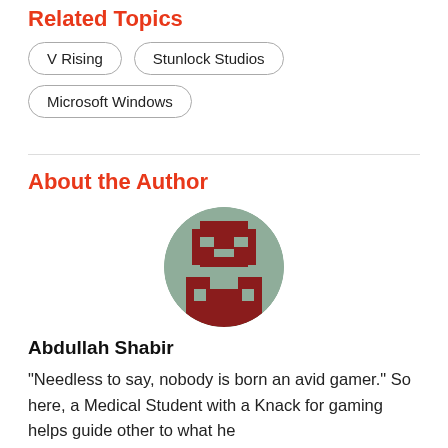Related Topics
V Rising
Stunlock Studios
Microsoft Windows
About the Author
[Figure (photo): Pixel art avatar of a character in dark red and sage green colors, displayed as a circular profile photo]
Abdullah Shabir
“Needless to say, nobody is born an avid gamer.” So here, a Medical Student with a Knack for gaming helps guide other to what he